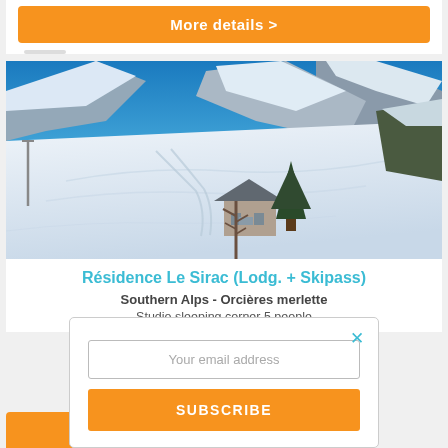More details >
[Figure (photo): Alpine ski resort landscape with snow-covered mountains, blue sky, a chalet building, and tall fir trees in the foreground]
Résidence Le Sirac (Lodg. + Skipass)
Southern Alps - Orcières merlette
Studio sleeping corner 5 people
Your email address
SUBSCRIBE